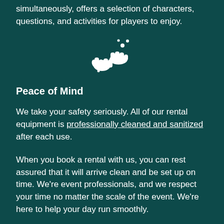simultaneously, offers a selection of characters, questions, and activities for players to enjoy.
[Figure (illustration): White icon of hands being washed/sanitized with bubbles, centered on dark teal background]
Peace of Mind
We take your safety seriously. All of our rental equipment is professionally cleaned and sanitized after each use.
When you book a rental with us, you can rest assured that it will arrive clean and be set up on time. We're event professionals, and we respect your time no matter the scale of the event. We're here to help your day run smoothly.
[Figure (illustration): White icon of a hand truck / dolly cart, centered on dark teal background]